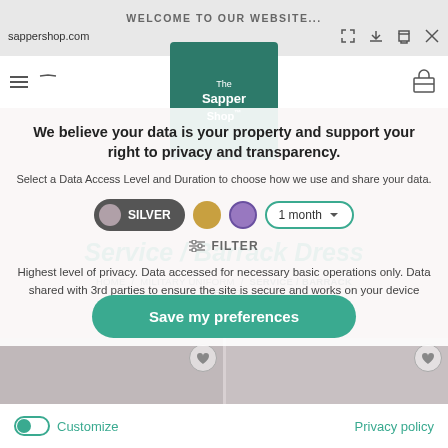WELCOME TO OUR WEBSITE...
sappershop.com
[Figure (logo): The Sapper Shop logo - green background with military crest]
We believe your data is your property and support your right to privacy and transparency.
Select a Data Access Level and Duration to choose how we use and share your data.
Service / Barrack Dress
HOME / MILITARY UNIFORM / SERVICE / BARRACK DRESS
SILVER  |  [gold circle]  |  [purple circle]  |  1 month ▾
⊟ FILTER
Highest level of privacy. Data accessed for necessary basic operations only. Data shared with 3rd parties to ensure the site is secure and works on your device
Default sorting
Save my preferences
Customize
Privacy policy